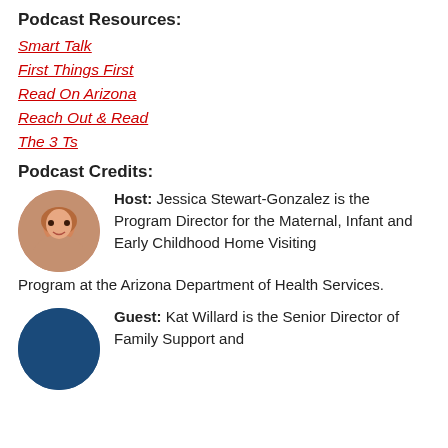Podcast Resources:
Smart Talk
First Things First
Read On Arizona
Reach Out & Read
The 3 Ts
Podcast Credits:
Host: Jessica Stewart-Gonzalez is the Program Director for the Maternal, Infant and Early Childhood Home Visiting Program at the Arizona Department of Health Services.
Guest: Kat Willard is the Senior Director of Family Support and